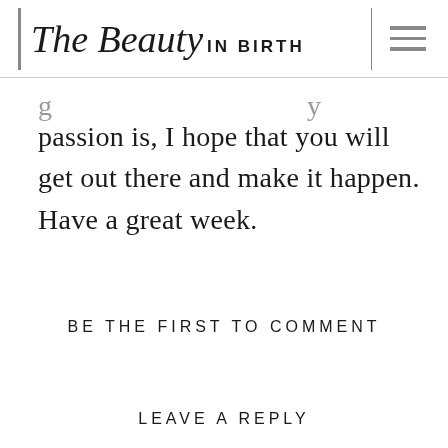The Beauty IN BIRTH
passion is, I hope that you will get out there and make it happen. Have a great week.
BE THE FIRST TO COMMENT
LEAVE A REPLY